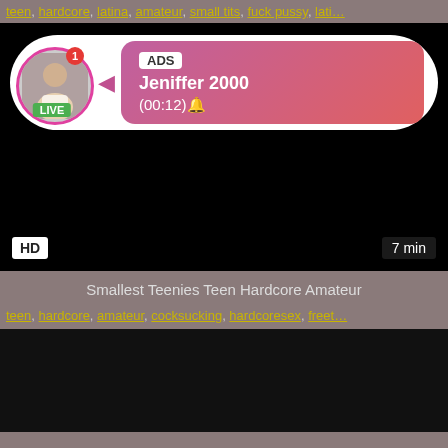teen, hardcore, latina, amateur, small tits, fuck pussy, lati...
[Figure (screenshot): Video thumbnail with dark/black background. Overlay ad popup with avatar, LIVE badge, ADS label, name Jeniffer 2000, time (00:12). HD badge bottom left, 7 min badge bottom right.]
Smallest Teenies Teen Hardcore Amateur
teen, hardcore, amateur, cocksucking, hardcoresex, freet...
[Figure (screenshot): Second video thumbnail, mostly black/dark background.]